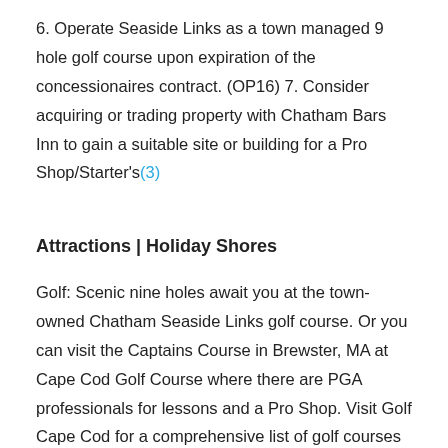6. Operate Seaside Links as a town managed 9 hole golf course upon expiration of the concessionaires contract. (OP16) 7. Consider acquiring or trading property with Chatham Bars Inn to gain a suitable site or building for a Pro Shop/Starter's(3)
Attractions | Holiday Shores
Golf: Scenic nine holes await you at the town-owned Chatham Seaside Links golf course. Or you can visit the Captains Course in Brewster, MA at Cape Cod Golf Course where there are PGA professionals for lessons and a Pro Shop. Visit Golf Cape Cod for a comprehensive list of golf courses in the area.(4)